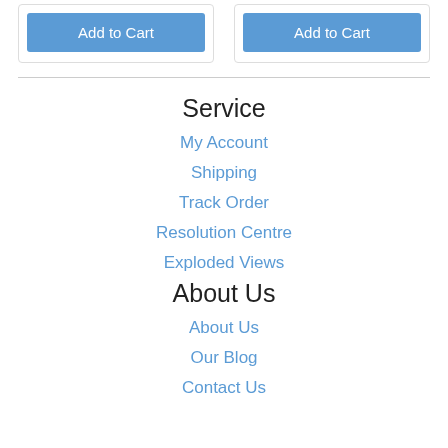Add to Cart
Add to Cart
Service
My Account
Shipping
Track Order
Resolution Centre
Exploded Views
About Us
About Us
Our Blog
Contact Us